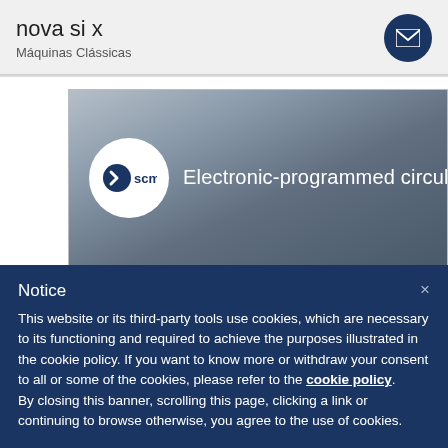nova si x
Máquinas Clássicas
[Figure (screenshot): SCM logo circle with text 'Electronic-programmed circular saw with +/-' on a grey gradient background video thumbnail]
Notice
This website or its third-party tools use cookies, which are necessary to its functioning and required to achieve the purposes illustrated in the cookie policy. If you want to know more or withdraw your consent to all or some of the cookies, please refer to the cookie policy.
By closing this banner, scrolling this page, clicking a link or continuing to browse otherwise, you agree to the use of cookies.